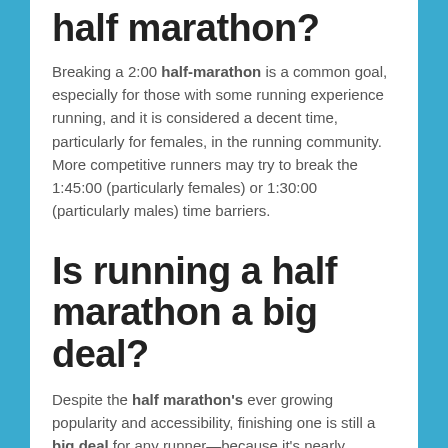half marathon?
Breaking a 2:00 half-marathon is a common goal, especially for those with some running experience running, and it is considered a decent time, particularly for females, in the running community. More competitive runners may try to break the 1:45:00 (particularly females) or 1:30:00 (particularly males) time barriers.
Is running a half marathon a big deal?
Despite the half marathon's ever growing popularity and accessibility, finishing one is still a big deal for any runner—because it's nearly impossible to fake it for 13.1 miles. You've got to train diligently